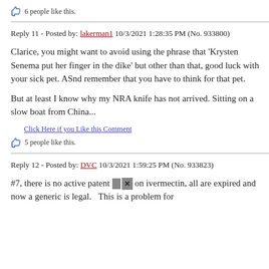👍 6 people like this.
Reply 11 - Posted by: lakerman1 10/3/2021 1:28:35 PM (No. 933800)
Clarice, you might want to avoid using the phrase that 'Krysten Senema put her finger in the dike' but other than that, good luck with your sick pet. ASnd remember that you have to think for that pet.
But at least I know why my NRA knife has not arrived. Sitting on a slow boat from China...
Click Here if you Like this Comment
👍 5 people like this.
Reply 12 - Posted by: DVC 10/3/2021 1:59:25 PM (No. 933823)
#7, there is no active patent [X] on ivermectin, all are expired and now a generic is legal.   This is a problem for